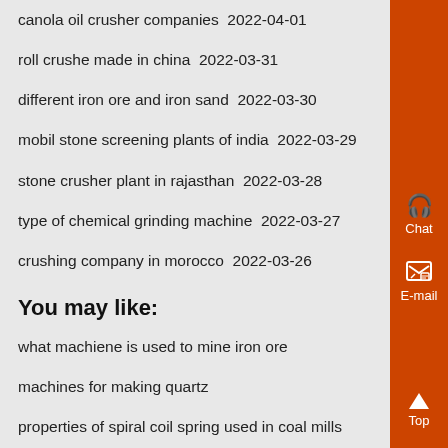canola oil crusher companies  2022-04-01
roll crushe made in china  2022-03-31
different iron ore and iron sand  2022-03-30
mobil stone screening plants of india  2022-03-29
stone crusher plant in rajasthan  2022-03-28
type of chemical grinding machine  2022-03-27
crushing company in morocco  2022-03-26
You may like:
what machiene is used to mine iron ore
machines for making quartz
properties of spiral coil spring used in coal mills